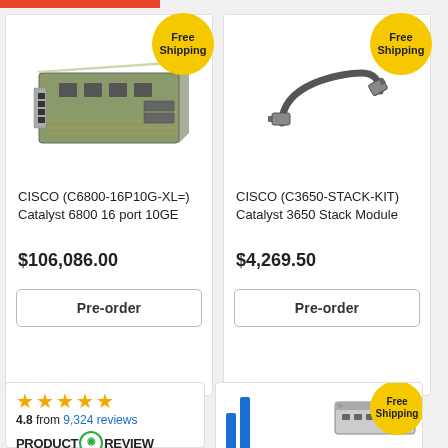[Figure (photo): Cisco C6800-16P10G-XL= Catalyst 6800 16 port 10GE network card PCB photo]
CISCO (C6800-16P10G-XL=) Catalyst 6800 16 port 10GE
$106,086.00
Pre-order
[Figure (photo): Cisco C3650-STACK-KIT Catalyst 3650 Stack Module cable photo]
CISCO (C3650-STACK-KIT) Catalyst 3650 Stack Module
$4,269.50
Pre-order
4.8 from 9,324 reviews
[Figure (logo): ProductReview.com.au logo]
[Figure (photo): Third product partial view with free shipping badge]
Free Shipping
Free Shipping
Free Shipping